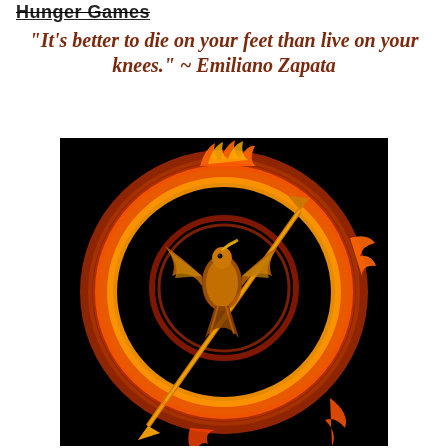Hunger Games
“It’s better to die on your feet than live on your knees.” ~ Emiliano Zapata
[Figure (illustration): Hunger Games Mockingjay logo — a golden bird with an arrow in its beak, encircled by a ring of fire, on a black background]